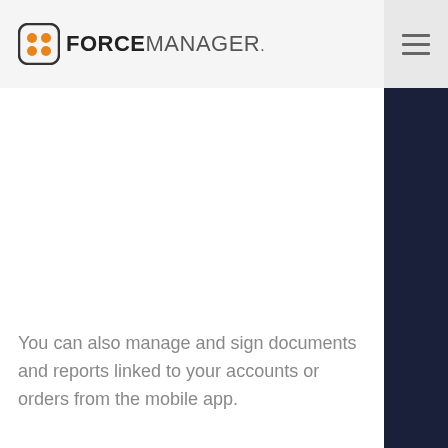FORCEMANAGER.
You can also manage and sign documents and reports linked to your accounts or orders from the mobile app.